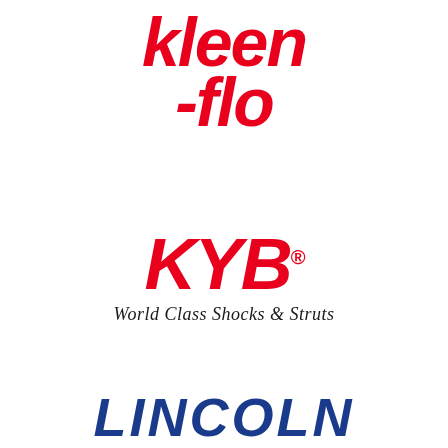[Figure (logo): Kleen-flo logo in bold red italic text, two lines: 'kleen' and '-flo']
[Figure (logo): KYB logo in bold red italic text with registered trademark symbol, with tagline 'World Class Shocks & Struts' below]
[Figure (logo): Lincoln logo in bold blue italic text, partially visible at bottom of page]